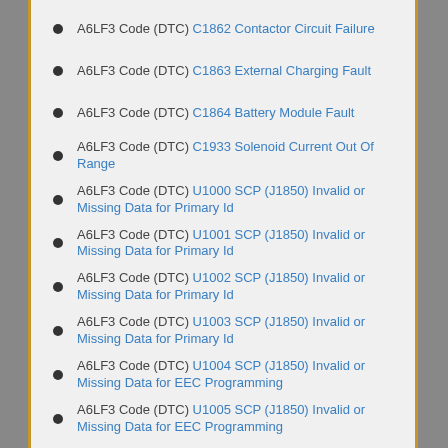A6LF3 Code (DTC) C1862 Contactor Circuit Failure
A6LF3 Code (DTC) C1863 External Charging Fault
A6LF3 Code (DTC) C1864 Battery Module Fault
A6LF3 Code (DTC) C1933 Solenoid Current Out Of Range
A6LF3 Code (DTC) U1000 SCP (J1850) Invalid or Missing Data for Primary Id
A6LF3 Code (DTC) U1001 SCP (J1850) Invalid or Missing Data for Primary Id
A6LF3 Code (DTC) U1002 SCP (J1850) Invalid or Missing Data for Primary Id
A6LF3 Code (DTC) U1003 SCP (J1850) Invalid or Missing Data for Primary Id
A6LF3 Code (DTC) U1004 SCP (J1850) Invalid or Missing Data for EEC Programming
A6LF3 Code (DTC) U1005 SCP (J1850) Invalid or Missing Data for EEC Programming
A6LF3 Code (DTC) U1006 SCP (J1850) Invalid or Missing Data for Primary Id